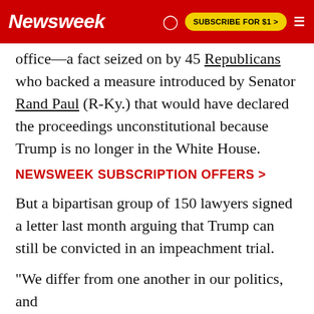Newsweek | SUBSCRIBE FOR $1 >
office—a fact seized on by 45 Republicans who backed a measure introduced by Senator Rand Paul (R-Ky.) that would have declared the proceedings unconstitutional because Trump is no longer in the White House.
NEWSWEEK SUBSCRIPTION OFFERS >
But a bipartisan group of 150 lawyers signed a letter last month arguing that Trump can still be convicted in an impeachment trial.
"We differ from one another in our politics, and